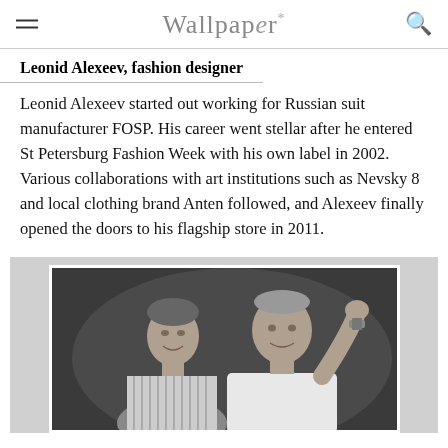Wallpaper*
Leonid Alexeev, fashion designer
Leonid Alexeev started out working for Russian suit manufacturer FOSP. His career went stellar after he entered St Petersburg Fashion Week with his own label in 2002. Various collaborations with art institutions such as Nevsky 8 and local clothing brand Anten followed, and Alexeev finally opened the doors to his flagship store in 2011.
[Figure (photo): Black and white photograph of two men posing together; the man on the left is smiling and wearing a striped shirt, the man on the right has his arm raised behind his head and is wearing a white shirt.]